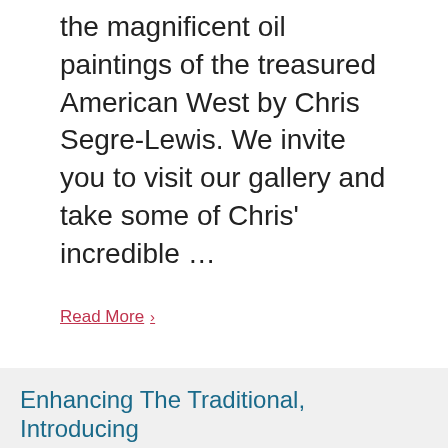the magnificent oil paintings of the treasured American West by Chris Segre-Lewis. We invite you to visit our gallery and take some of Chris' incredible …
Read More ›
View All Blog Posts
Enhancing The Traditional, Introducing